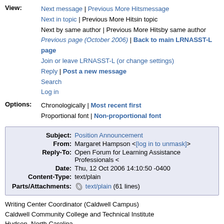View: Next message | Previous More Hitsmessage
Next in topic | Previous More Hitsin topic
Next by same author | Previous More Hitsby same author
Previous page (October 2006) | Back to main LRNASST-L page
Join or leave LRNASST-L (or change settings)
Reply | Post a new message
Search
Log in
Options: Chronologically | Most recent first
Proportional font | Non-proportional font
| Field | Value |
| --- | --- |
| Subject: | Position Announcement |
| From: | Margaret Hampson <[log in to unmask]> |
| Reply-To: | Open Forum for Learning Assistance Professionals < |
| Date: | Thu, 12 Oct 2006 14:10:50 -0400 |
| Content-Type: | text/plain |
| Parts/Attachments: | text/plain (61 lines) |
Writing Center Coordinator (Caldwell Campus)
Caldwell Community College and Technical Institute
Hudson, North Carolina
Length of Contract:
12 months
Job Summary: